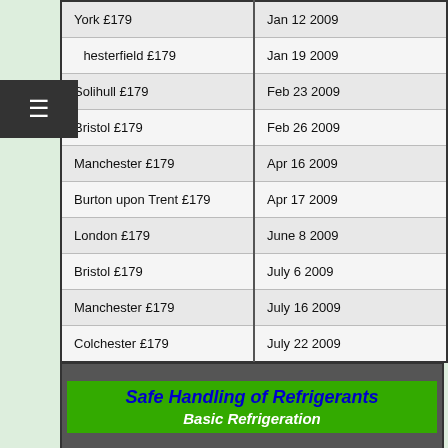| Location | Date |
| --- | --- |
| York £179 | Jan 12 2009 |
| Chesterfield £179 | Jan 19 2009 |
| Solihull £179 | Feb 23 2009 |
| Bristol £179 | Feb 26 2009 |
| Manchester £179 | Apr 16 2009 |
| Burton upon Trent £179 | Apr 17 2009 |
| London £179 | June 8 2009 |
| Bristol £179 | July 6 2009 |
| Manchester £179 | July 16 2009 |
| Colchester £179 | July 22 2009 |
[Figure (illustration): Green banner with dark grey background reading 'Safe Handling of Refrigerants / Basic Refrigeration']